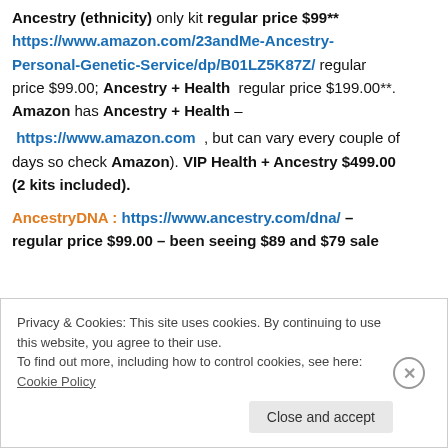Ancestry (ethnicity) only kit regular price $99** https://www.amazon.com/23andMe-Ancestry-Personal-Genetic-Service/dp/B01LZ5K87Z/ regular price $99.00; Ancestry + Health  regular price $199.00**. Amazon has Ancestry + Health – https://www.amazon.com , but can vary every couple of days so check Amazon). VIP Health + Ancestry $499.00 (2 kits included).
AncestryDNA : https://www.ancestry.com/dna/ – regular price $99.00 – been seeing $89 and $79 sale
Privacy & Cookies: This site uses cookies. By continuing to use this website, you agree to their use. To find out more, including how to control cookies, see here: Cookie Policy